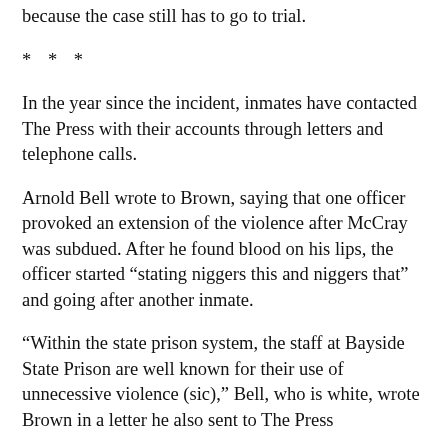because the case still has to go to trial.
* * *
In the year since the incident, inmates have contacted The Press with their accounts through letters and telephone calls.
Arnold Bell wrote to Brown, saying that one officer provoked an extension of the violence after McCray was subdued. After he found blood on his lips, the officer started “stating niggers this and niggers that” and going after another inmate.
“Within the state prison system, the staff at Bayside State Prison are well known for their use of unnecessive violence (sic),” Bell, who is white, wrote Brown in a letter he also sent to The Press